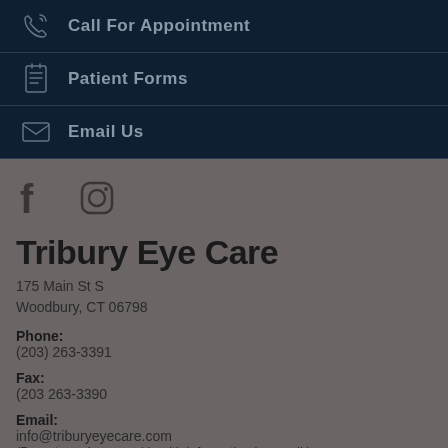Call For Appointment
Patient Forms
Email Us
[Figure (other): Social media icons: Facebook and Instagram]
Tribury Eye Care
175 Main St S
Woodbury, CT 06798
Phone:
(203) 263-3391
Fax:
(203 263-3390
Email:
info@triburyeyecare.com
(Do not send personal health information by email.)